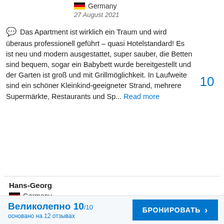Germany
27 August 2021
Das Apartment ist wirklich ein Traum und wird überaus professionell geführt – quasi Hotelstandard! Es ist neu und modern ausgestattet, super sauber, die Betten sind bequem, sogar ein Babybett wurde bereitgestellt und der Garten ist groß und mit Grillmöglichkeit. In Laufweite sind ein schöner Kleinkind-geeigneter Strand, mehrere Supermärkte, Restaurants und Sp... Read more
10
Hans-Georg
Germany
Великолепно 10/10 основано на 12 отзывах
БРОНИРОВАТЬ